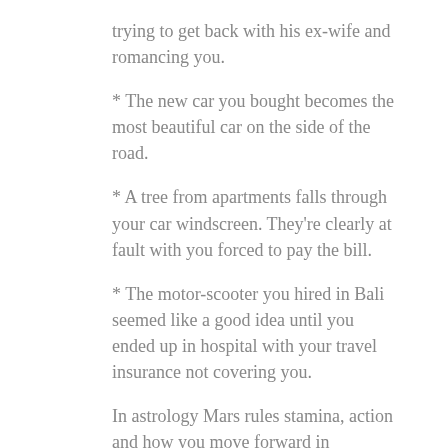trying to get back with his ex-wife and romancing you.
* The new car you bought becomes the most beautiful car on the side of the road.
* A tree from apartments falls through your car windscreen. They're clearly at fault with you forced to pay the bill.
* The motor-scooter you hired in Bali seemed like a good idea until you ended up in hospital with your travel insurance not covering you.
In astrology Mars rules stamina, action and how you move forward in relationships – it also rules iron as in your body AND cars.
In your birth chart, the planet Mars controls action, energy, drive, and determination. When Mars is below…